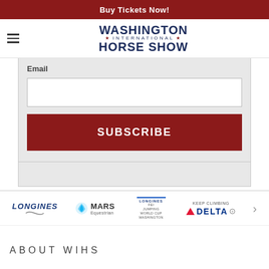Buy Tickets Now!
[Figure (logo): Washington International Horse Show logo with hamburger menu icon]
Email
[Figure (screenshot): Email input text field]
SUBSCRIBE
[Figure (logo): Sponsor logos: LONGINES, MARS Equestrian, Longines FEI Jumping World Cup Washington, KEEP CLIMBING DELTA, with right arrow]
ABOUT WIHS